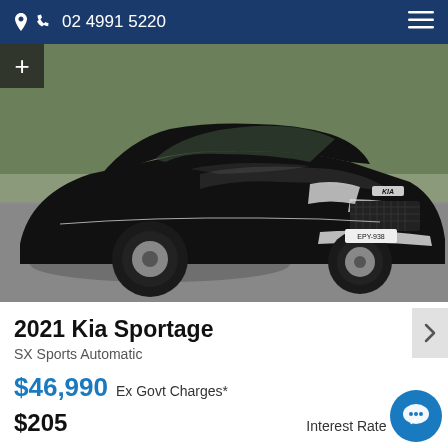02 4991 5220
[Figure (photo): Black 2021 Kia Sportage SUV photographed from front-left angle in a carpark with trees in background]
2021 Kia Sportage
SX Sports Automatic
$46,990 Ex Govt Charges*
$205   Interest Rate 9.32%